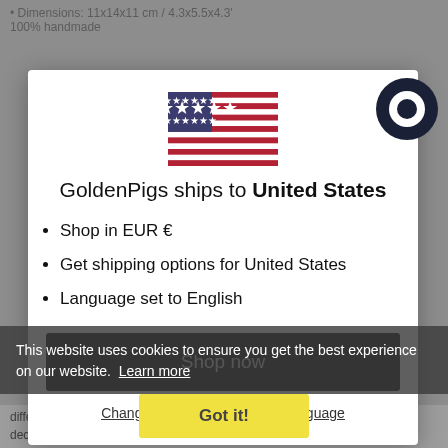Dimensions: 11x14x11 cm / 4.3x5.5x4.3'
100% handmade
[Figure (illustration): US flag illustration centered at top of modal]
GoldenPigs ships to United States
Shop in EUR €
Get shipping options for United States
Language set to English
Shop now
Change shipping country and language
This website uses cookies to ensure you get the best experience on our website.  Learn more
Got it!
different sizes and colours, being not just a practical gift and a perfect home decoration idea, but also a teaching tool for